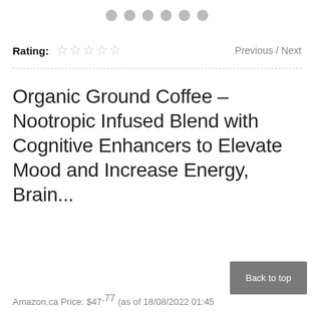[Figure (other): Row of 6 gray circle dots (carousel/pagination indicator)]
Rating: ☆☆☆☆☆   Previous / Next
Organic Ground Coffee – Nootropic Infused Blend with Cognitive Enhancers to Elevate Mood and Increase Energy, Brain...
Amazon.ca Price: $47.77 (as of 18/08/2022 01:45
Back to top